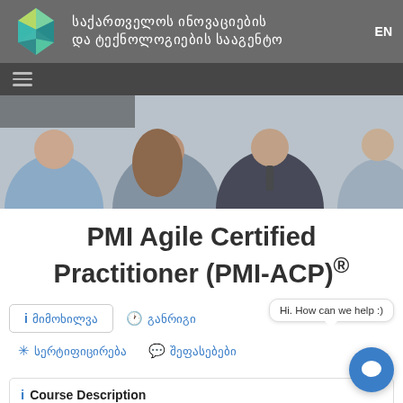საქართველოს ინოვაციების და ტექნოლოგიების სააგენტო | EN
[Figure (photo): Group of smiling business professionals in a meeting, with one woman in center and a man in suit on the right]
PMI Agile Certified Practitioner (PMI-ACP)®
i მიმოხილვა
🕐 განრიგი
Hi. How can we help :)
✳ სერტიფიცირება
💬 შეფასებები
i Course Description
The PMI Agile Certified Practitioner (PMI-ACP)® is